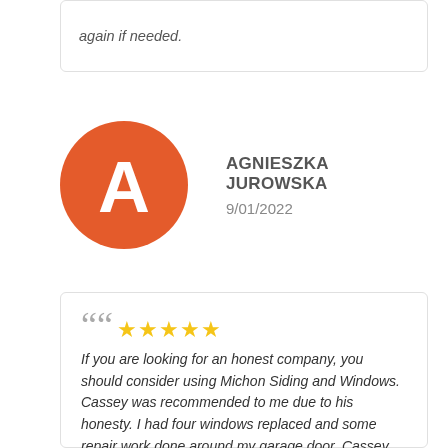again if needed.
[Figure (illustration): Orange circle avatar with white letter A for reviewer Agnieszka Jurowska]
AGNIESZKA JUROWSKA
9/01/2022
““ ★★★★★ If you are looking for an honest company, you should consider using Michon Siding and Windows. Cassey was recommended to me due to his honesty. I had four windows replaced and some repair work done around my garage door. Cassey was upfront on what it would cost and how long it would take for windows to arrive. He was right on schedule and his crew was prompt on the day of installation. When job was complete, they cleaned up the entire area they were working at including